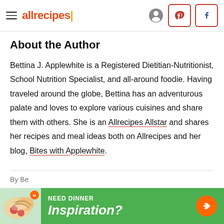allrecipes
About the Author
Bettina J. Applewhite is a Registered Dietitian-Nutritionist, School Nutrition Specialist, and all-around foodie. Having traveled around the globe, Bettina has an adventurous palate and loves to explore various cuisines and share them with others. She is an Allrecipes Allstar and shares her recipes and meal ideas both on Allrecipes and her blog, Bites with Applewhite.
By Bettina J. Applewhite, MS, RDN, SNS
[Figure (infographic): Green advertisement banner with food image on left, text 'NEED DINNER Inspiration?' in white, and orange arrow button on right]